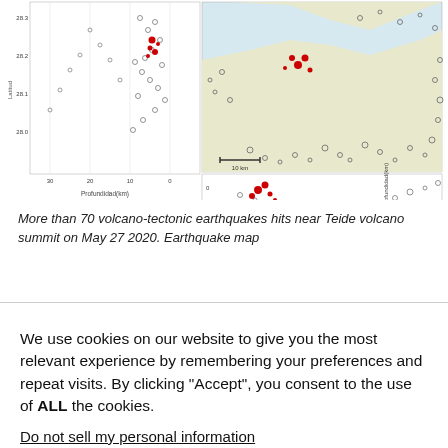[Figure (map): Earthquake map showing seismic activity near Teide volcano. Multi-panel scientific figure with scatter plots and geographic map showing earthquake locations by magnitude (Magnitud ML) and depth (Profundidad km). Red dots indicate recent volcano-tectonic earthquakes. Legend shows magnitude classes: <1, 1-2, 2-3, 3-4 in both filled (red, recent) and open (grey, background) circles.]
More than 70 volcano-tectonic earthquakes hits near Teide volcano summit on May 27 2020. Earthquake map
We use cookies on our website to give you the most relevant experience by remembering your preferences and repeat visits. By clicking “Accept”, you consent to the use of ALL the cookies.
Do not sell my personal information.